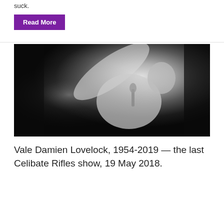suck.
Read More
[Figure (photo): Black and white photograph of a man singing into a microphone on stage, arm raised, wearing a patterned shirt, against a dark background.]
Vale Damien Lovelock, 1954-2019 — the last Celibate Rifles show, 19 May 2018.